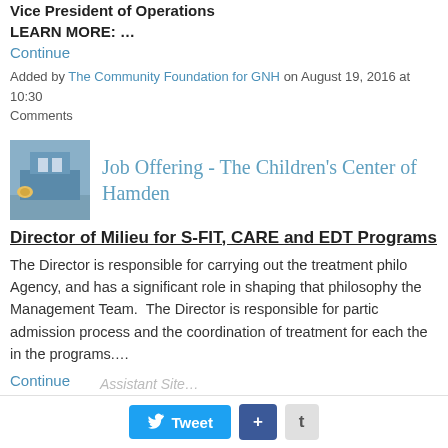Vice President of Operations
LEARN MORE: …
Continue
Added by The Community Foundation for GNH on August 19, 2016 at 10:30 Comments
[Figure (photo): Thumbnail photo for Job Offering - The Children's Center of Hamden]
Job Offering - The Children's Center of Hamden
Director of Milieu for S-FIT, CARE and EDT Programs
The Director is responsible for carrying out the treatment philo Agency, and has a significant role in shaping that philosophy the Management Team.  The Director is responsible for partic admission process and the coordination of treatment for each the in the programs....
Continue
Added by Chanelle Goldson on August 11, 2016 at 3:59pm — No Commen
[Figure (photo): Avatar thumbnail for New Haven Reads post]
New Haven Reads is Hiring! Kindergarten Teache
Assistant Site…